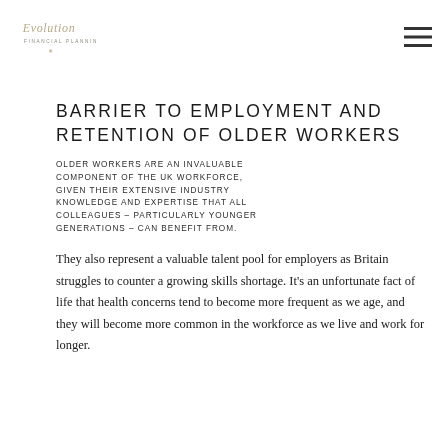Evolution Financial Planning [logo] [hamburger menu]
BARRIER TO EMPLOYMENT AND RETENTION OF OLDER WORKERS
OLDER WORKERS ARE AN INVALUABLE COMPONENT OF THE UK WORKFORCE, GIVEN THEIR EXTENSIVE INDUSTRY KNOWLEDGE AND EXPERTISE THAT ALL COLLEAGUES – PARTICULARLY YOUNGER GENERATIONS – CAN BENEFIT FROM.
They also represent a valuable talent pool for employers as Britain struggles to counter a growing skills shortage. It's an unfortunate fact of life that health concerns tend to become more frequent as we age, and they will become more common in the workforce as we live and work for longer.